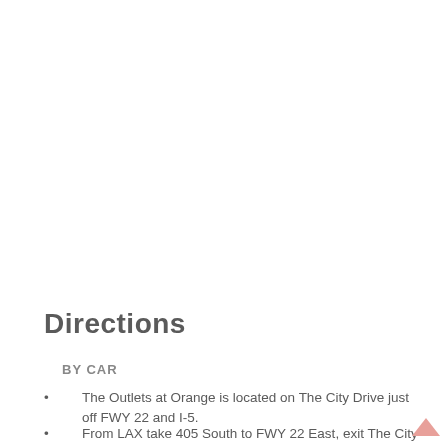Directions
BY CAR
The Outlets at Orange is located on The City Drive just off FWY 22 and I-5.
From LAX take 405 South to FWY 22 East, exit The City Drive left.